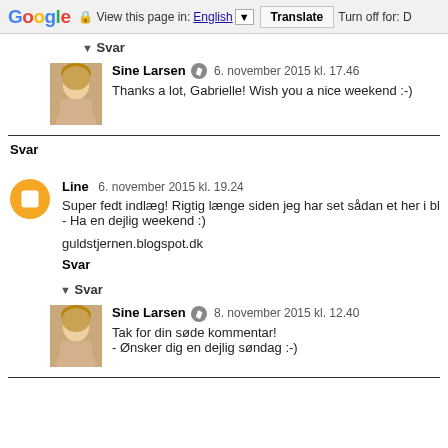Google | View this page in: English [▼] | Translate | Turn off for: D
▼ Svar
Sine Larsen  6. november 2015 kl. 17.46
Thanks a lot, Gabrielle! Wish you a nice weekend :-)
Svar
Line  6. november 2015 kl. 19.24
Super fedt indlæg! Rigtig længe siden jeg har set sådan et her i bl...
- Ha en dejlig weekend :)
guldstjernen.blogspot.dk
Svar
▼ Svar
Sine Larsen  8. november 2015 kl. 12.40
Tak for din søde kommentar!
- Ønsker dig en dejlig søndag :-)